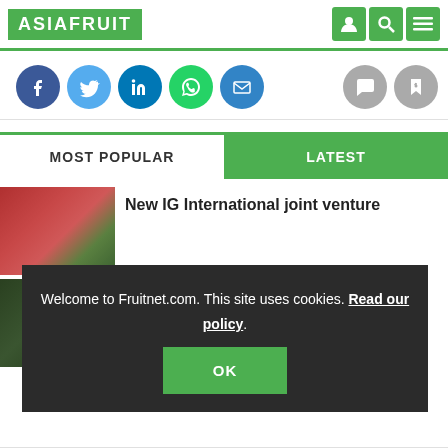ASIAFRUIT
[Figure (screenshot): Social media sharing icons: Facebook, Twitter, LinkedIn, WhatsApp, Email, comment and bookmark action icons]
MOST POPULAR | LATEST
New IG International joint venture
Welcome to Fruitnet.com. This site uses cookies. Read our policy.
OK